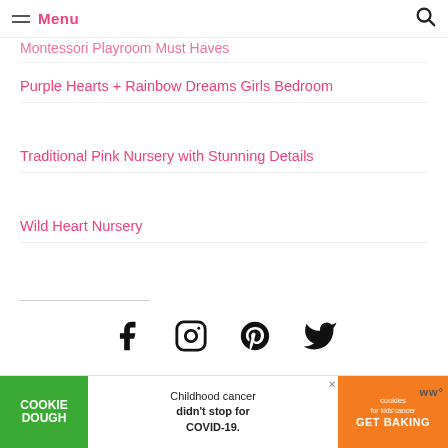Menu  [search icon]
Montessori Playroom Must Haves
Purple Hearts + Rainbow Dreams Girls Bedroom
Traditional Pink Nursery with Stunning Details
Wild Heart Nursery
[Figure (infographic): Social media icons row: Facebook, Instagram, Pinterest, Twitter]
Shop Room Decor
[Figure (infographic): Advertisement banner: Cookie Dough - Childhood cancer didn't stop for COVID-19. GET BAKING (cookies for kids cancer)]